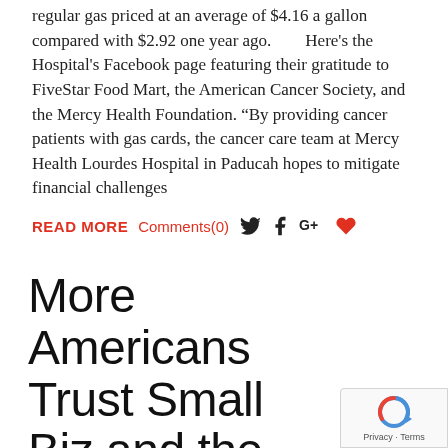regular gas priced at an average of $4.16 a gallon compared with $2.92 one year ago.        Here's the Hospital's Facebook page featuring their gratitude to FiveStar Food Mart, the American Cancer Society, and the Mercy Health Foundation. "By providing cancer patients with gas cards, the cancer care team at Mercy Health Lourdes Hospital in Paducah hopes to mitigate financial challenges
READ MORE   Comments(0)   [social icons: Twitter, Facebook, Google+, Heart]
More Americans Trust Small Biz and the Military than the Medical System, Gallup Finds
[Figure (other): reCAPTCHA privacy badge in the bottom-right corner showing the reCAPTCHA logo and 'Privacy · Terms' text]